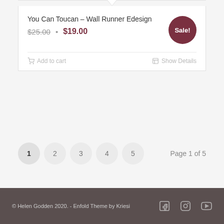You Can Toucan – Wall Runner Edesign
$25.00 · $19.00
Sale!
Add to cart
Show Details
1 2 3 4 5  Page 1 of 5
© Helen Godden 2020. - Enfold Theme by Kriesi